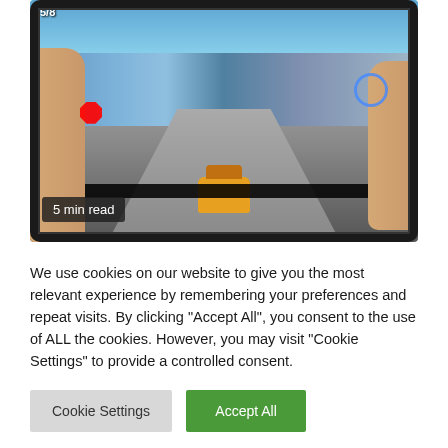[Figure (photo): Person holding a tablet device displaying a 3D racing video game with an orange sports car driving through an urban environment. A '5 min read' badge is overlaid on the lower left of the image.]
5 min read
We use cookies on our website to give you the most relevant experience by remembering your preferences and repeat visits. By clicking "Accept All", you consent to the use of ALL the cookies. However, you may visit "Cookie Settings" to provide a controlled consent.
Cookie Settings
Accept All